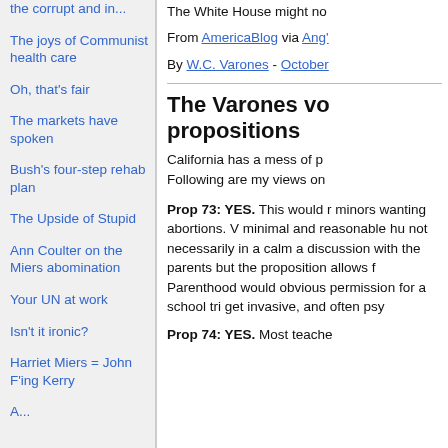the corrupt and in...
The joys of Communist health care
Oh, that's fair
The markets have spoken
Bush's four-step rehab plan
The Upside of Stupid
Ann Coulter on the Miers abomination
Your UN at work
Isn't it ironic?
Harriet Miers = John F'ing Kerry
A...
The White House might no
From AmericaBlog via Ang'
By W.C. Varones - October
The Varones vo propositions
California has a mess of p Following are my views on
Prop 73: YES. This would r minors wanting abortions. V minimal and reasonable hu not necessarily in a calm a discussion with the parents but the proposition allows f Parenthood would obvious permission for a school tri get invasive, and often psy
Prop 74: YES. Most teache